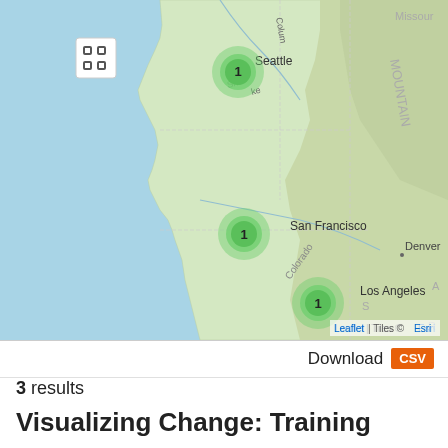[Figure (map): Interactive Leaflet map showing western United States (Pacific coast, Rocky Mountains region) with three green cluster markers each labeled '1' positioned at Seattle, San Francisco, and Los Angeles. Map tiles from Esri. Includes a fullscreen control icon in the top-left. Attribution reads 'Leaflet | Tiles © Esri' in bottom-right.]
Download CSV
3 results
Visualizing Change: Training